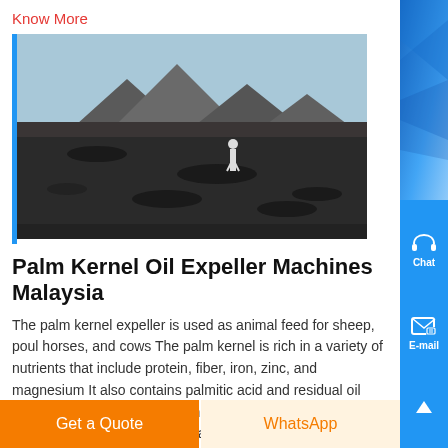Know More
[Figure (photo): Outdoor landscape photo with a person standing in a dark rocky field with mountains in the background and a blue sky]
Palm Kernel Oil Expeller Machines Malaysia
The palm kernel expeller is used as animal feed for sheep, poultry, horses, and cows The palm kernel is rich in a variety of nutrients that include protein, fiber, iron, zinc, and magnesium It also contains palmitic acid and residual oil The main function of the machines is to crush copra and kernels to extract the oil and ca
Know More